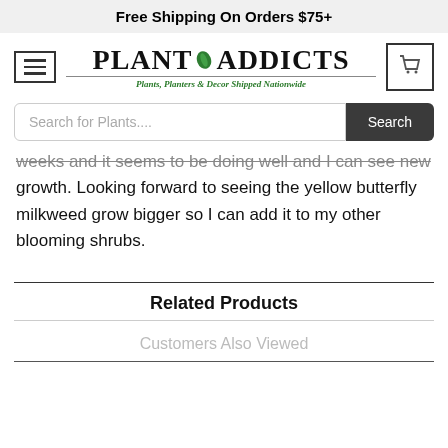Free Shipping On Orders $75+
[Figure (logo): Plant Addicts logo with hamburger menu icon on left, shopping cart icon on right, tagline: Plants, Planters & Decor Shipped Nationwide]
[Figure (screenshot): Search bar with placeholder 'Search for Plants....' and dark 'Search' button]
weeks and it seems to be doing well and I can see new growth. Looking forward to seeing the yellow butterfly milkweed grow bigger so I can add it to my other blooming shrubs.
Related Products
Customers Also Viewed